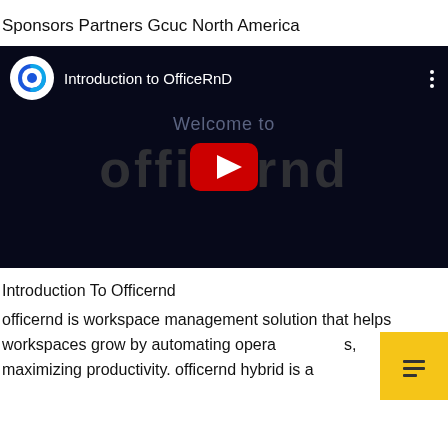Sponsors Partners Gcuc North America
[Figure (screenshot): YouTube video embed showing 'Introduction to OfficeRnD' video with OfficeRnD logo, play button, 'Welcome to officernd' branding on dark background]
Introduction To Officernd
officernd is workspace management solution that helps workspaces grow by automating operations, maximizing productivity. officernd hybrid is a